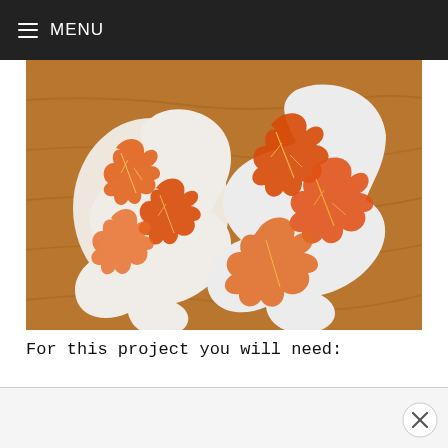MENU
[Figure (photo): Leaf-shaped decorated cookies with orange and red maple leaf designs on white royal icing background, placed on a brown wooden surface.]
For this project you will need: